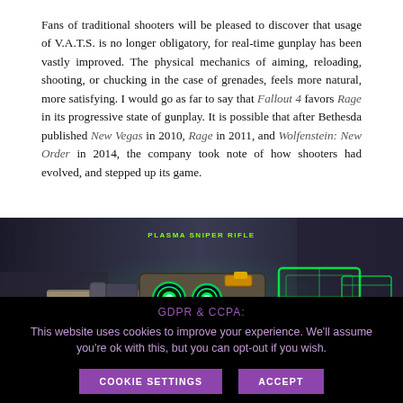Fans of traditional shooters will be pleased to discover that usage of V.A.T.S. is no longer obligatory, for real-time gunplay has been vastly improved. The physical mechanics of aiming, reloading, shooting, or chucking in the case of grenades, feels more natural, more satisfying. I would go as far to say that Fallout 4 favors Rage in its progressive state of gunplay. It is possible that after Bethesda published New Vegas in 2010, Rage in 2011, and Wolfenstein: New Order in 2014, the company took note of how shooters had evolved, and stepped up its game.
[Figure (screenshot): In-game screenshot showing a Plasma Sniper Rifle weapon from Fallout 4, displayed against a dark blurred background. The weapon has neon green glowing elements and mechanical details. Text overlay reads PLASMA SNIPER RIFLE.]
GDPR & CCPA: This website uses cookies to improve your experience. We'll assume you're ok with this, but you can opt-out if you wish.